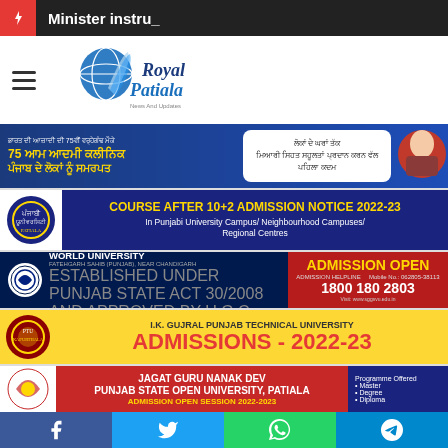Minister instru_
[Figure (logo): Royal Patiala news website logo with globe and pen icon]
[Figure (infographic): Punjab government AAM AADMI CLINIC banner in Punjabi - 75 ਆਮ ਆਦਮੀ ਕਲੀਨਿਕ ਪੰਜਾਬ ਦੇ ਲੋਕਾਂ ਨੂੰ ਸਮਰਪਤ]
[Figure (infographic): COURSE AFTER 10+2 ADMISSION NOTICE 2022-23 In Punjabi University Campus/ Neighbourhood Campuses/ Regional Centres]
[Figure (infographic): SRI GURU GRANTH SAHIB WORLD UNIVERSITY FATEHGARH SAHIB (PUNJAB), NEAR CHANDIGARH - ADMISSION OPEN - 1800 180 2803]
[Figure (infographic): I.K. GUJRAL PUNJAB TECHNICAL UNIVERSITY ADMISSIONS - 2022-23]
[Figure (infographic): JAGAT GURU NANAK DEV PUNJAB STATE OPEN UNIVERSITY, PATIALA - ADMISSION OPEN SESSION 2022-2023 - Programme Offered: Master, Degree, Diploma]